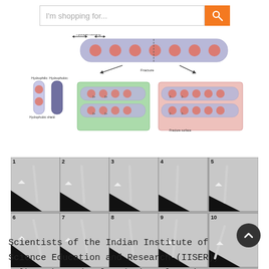[Figure (screenshot): Website search bar with orange search button icon]
[Figure (schematic): Scientific diagram showing piezoelectric molecular crystal structure with hydrogen bonding, hydrophilic and hydrophobic components, hydrophobic shield, fracture surface, and piezoelectric effect illustration with labeled components including positive and negative charges]
[Figure (photo): Optical microscopy sequence showing 10 numbered frames (1-10) of a crystal bending/flexing under mechanical force, shown in grayscale with arrow indicators showing direction of applied force]
Scientists of the Indian Institute of Science Education and Research (IISER), Kolkata have developed piezoelectric molecular crystals in